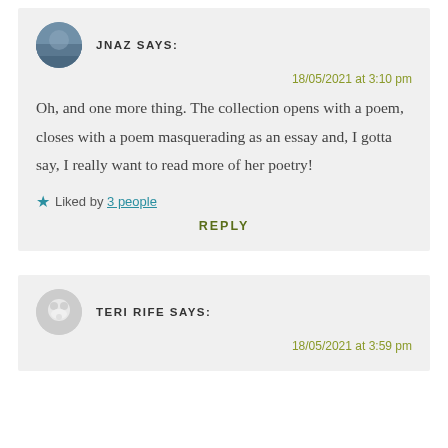JNAZ SAYS:
18/05/2021 at 3:10 pm
Oh, and one more thing. The collection opens with a poem, closes with a poem masquerading as an essay and, I gotta say, I really want to read more of her poetry!
★ Liked by 3 people
REPLY
TERI RIFE SAYS:
18/05/2021 at 3:59 pm